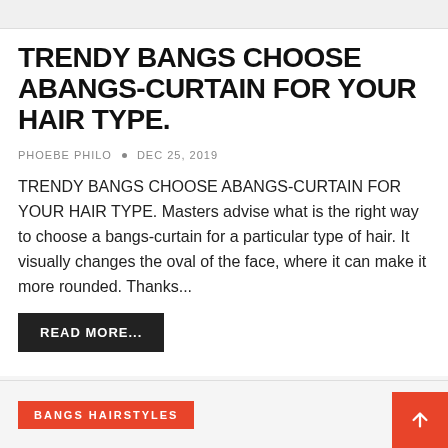TRENDY BANGS CHOOSE ABANGS-CURTAIN FOR YOUR HAIR TYPE.
PHOEBE PHILO  •  DEC 25, 2019
TRENDY BANGS CHOOSE ABANGS-CURTAIN FOR YOUR HAIR TYPE. Masters advise what is the right way to choose a bangs-curtain for a particular type of hair. It visually changes the oval of the face, where it can make it more rounded. Thanks...
READ MORE...
BANGS HAIRSTYLES